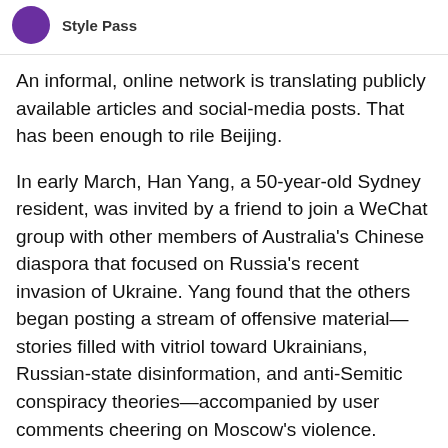Style Pass
An informal, online network is translating publicly available articles and social-media posts. That has been enough to rile Beijing.
In early March, Han Yang, a 50-year-old Sydney resident, was invited by a friend to join a WeChat group with other members of Australia's Chinese diaspora that focused on Russia's recent invasion of Ukraine. Yang found that the others began posting a stream of offensive material—stories filled with vitriol toward Ukrainians, Russian-state disinformation, and anti-Semitic conspiracy theories—accompanied by user comments cheering on Moscow's violence.
When one user asked where in Sydney they could find a store selling Russian food, which they planned to purchase to show support for Moscow, Yang had enough. “That triggered me,” he told me. “It is so outlandish.” He remembers thinking: “You live in